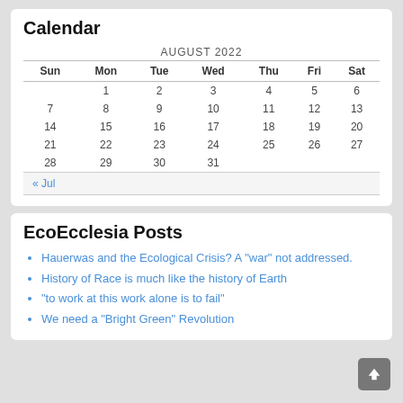Calendar
| Sun | Mon | Tue | Wed | Thu | Fri | Sat |
| --- | --- | --- | --- | --- | --- | --- |
|  | 1 | 2 | 3 | 4 | 5 | 6 |
| 7 | 8 | 9 | 10 | 11 | 12 | 13 |
| 14 | 15 | 16 | 17 | 18 | 19 | 20 |
| 21 | 22 | 23 | 24 | 25 | 26 | 27 |
| 28 | 29 | 30 | 31 |  |  |  |
| « Jul |  |  |  |  |  |  |
EcoEcclesia Posts
Hauerwas and the Ecological Crisis? A "war" not addressed.
History of Race is much like the history of Earth
"to work at this work alone is to fail"
We need a "Bright Green" Revolution